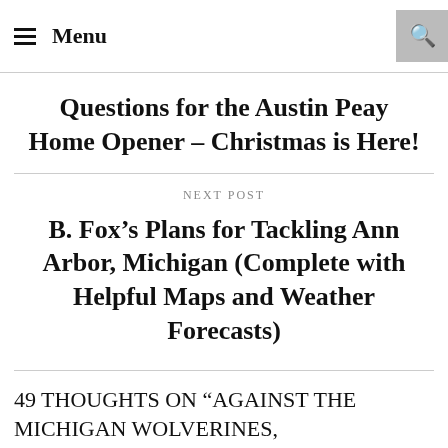≡ Menu
Questions for the Austin Peay Home Opener – Christmas is Here!
NEXT POST
B. Fox's Plans for Tackling Ann Arbor, Michigan (Complete with Helpful Maps and Weather Forecasts)
49 THOUGHTS ON "AGAINST THE MICHIGAN WOLVERINES, BEARCATS LOOK TO REGAIN NATIONAL PROMINENCE"